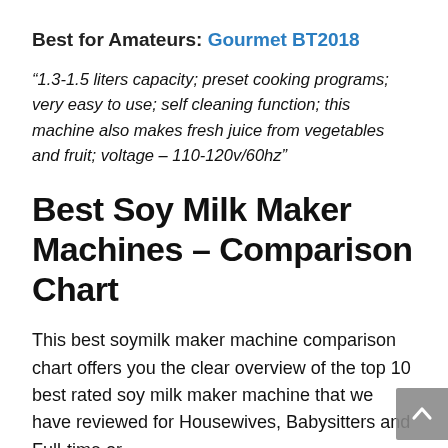Best for Amateurs: Gourmet BT2018
“1.3-1.5 liters capacity; preset cooking programs; very easy to use; self cleaning function; this machine also makes fresh juice from vegetables and fruit; voltage – 110-120v/60hz”
Best Soy Milk Maker Machines – Comparison Chart
This best soymilk maker machine comparison chart offers you the clear overview of the top 10 best rated soy milk maker machine that we have reviewed for Housewives, Babysitters and Full-time or